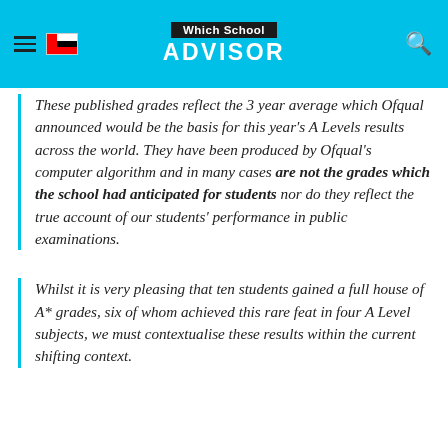Which School ADVISOR
These published grades reflect the 3-year average which Ofqual announced would be the basis for this year's A Levels results across the world. They have been produced by Ofqual's computer algorithm and in many cases are not the grades which the school had anticipated for students nor do they reflect the true account of our students' performance in public examinations.
Whilst it is very pleasing that ten students gained a full house of A* grades, six of whom achieved this rare feat in four A Level subjects, we must contextualise these results within the current shifting context.